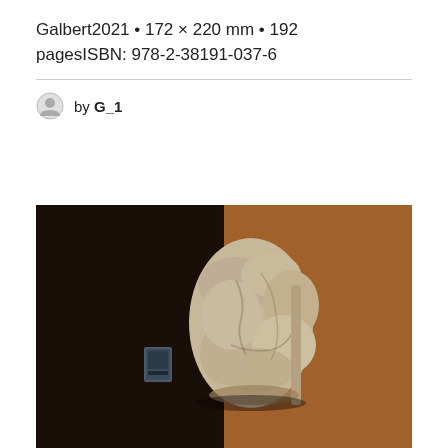Galbert2021 • 172 × 220 mm  •  192 pagesISBN: 978-2-38191-037-6
by G_1
[Figure (photo): Photograph of a rough stone or clay tablet artifact displayed against a two-tone background: left half dark brown/black, right half medium brown/tan. A small framed label or placard is visible on the left side near the artifact.]